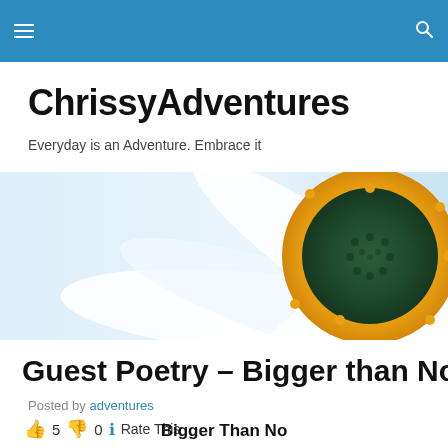ChrissyAdventures — navigation bar
ChrissyAdventures
Everyday is an Adventure. Embrace it
[Figure (photo): Close-up of a white daisy flower with a yellow and green centre, cropped to a banner strip]
Guest Poetry – Bigger than No
Posted by adventures
👍 5 👎 0 ℹ Rate This
Bigger Than No